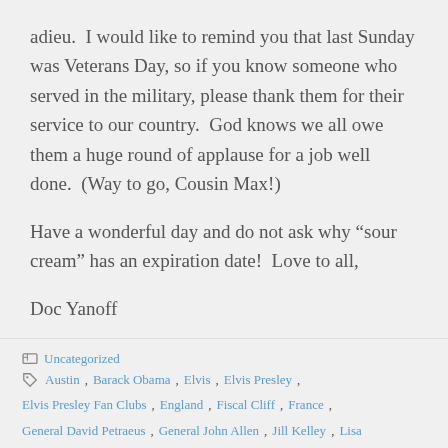adieu.  I would like to remind you that last Sunday was Veterans Day, so if you know someone who served in the military, please thank them for their service to our country.  God knows we all owe them a huge round of applause for a job well done.  (Way to go, Cousin Max!)
Have a wonderful day and do not ask why “sour cream” has an expiration date!  Love to all,
Doc Yanoff
Uncategorized   Austin, Barack Obama, Elvis, Elvis Presley, Elvis Presley Fan Clubs, England, Fiscal Cliff, France, General David Petraeus, General John Allen, Jill Kelley, Lisa